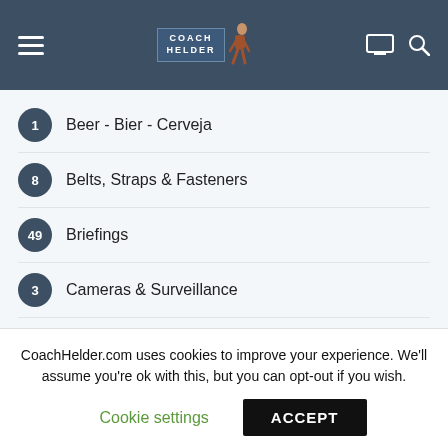Coach Helder — navigation header
1 Beer - Bier - Cerveja
8 Belts, Straps & Fasteners
49 Briefings
3 Cameras & Surveillance
16 Carrying Equipment (packs-rucks)
3 Clothing
16 Cooking & Mess Gear
14 Dog & Pet Gear
Emergency Lighting (partial)
CoachHelder.com uses cookies to improve your experience. We'll assume you're ok with this, but you can opt-out if you wish.
Cookie settings   ACCEPT